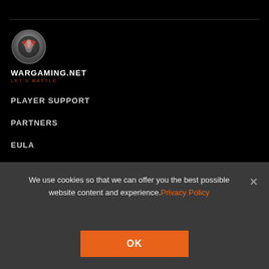[Figure (logo): Wargaming.net logo with circular silver/red emblem, white bold text WARGAMING.NET, red text LET'S BATTLE below]
PLAYER SUPPORT
PARTNERS
EULA
PRIVACY POLICY
GAME RULES
CAREERS
We use cookies so that we can offer you the best possible website content and experience. Privacy Policy
OK